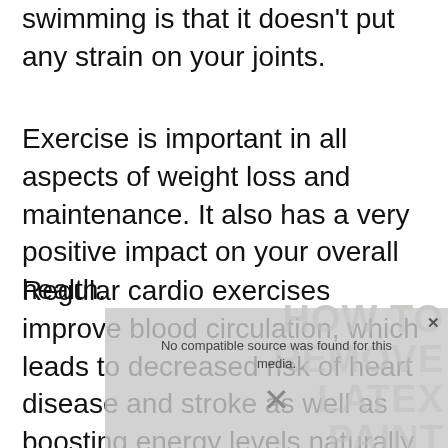swimming is that it doesn't put any strain on your joints.
Exercise is important in all aspects of weight loss and maintenance. It also has a very positive impact on your overall health.
Regular cardio exercises improve blood circulation, which leads to decreased risk of heart disease and stroke as well as boosting energy levels naturally.